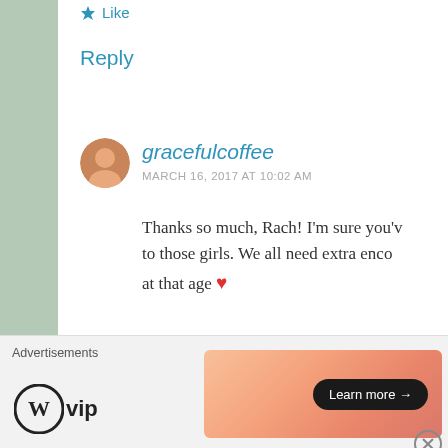★ Like
Reply
gracefulcoffee
MARCH 16, 2017 AT 10:02 AM
Thanks so much, Rach! I'm sure you'v to those girls. We all need extra enco at that age ❤
★ Like
Reply
Advertisements
[Figure (logo): WordPress VIP logo with circular W icon and 'vip' text]
[Figure (infographic): Orange/pink gradient advertisement banner with 'Learn more →' button]